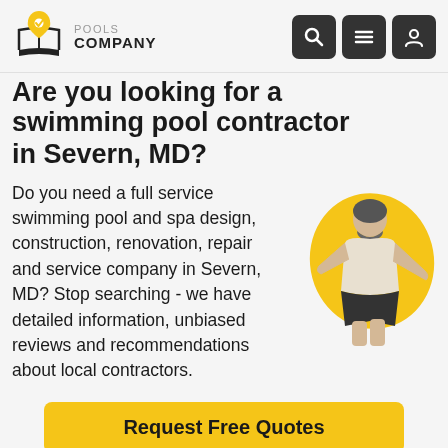POOLS COMPANY
Are you looking for a swimming pool contractor in Severn, MD?
Do you need a full service swimming pool and spa design, construction, renovation, repair and service company in Severn, MD? Stop searching - we have detailed information, unbiased reviews and recommendations about local contractors.
[Figure (illustration): Person leaning forward looking, overlaid on a yellow blob/amoeba shape]
Request Free Quotes